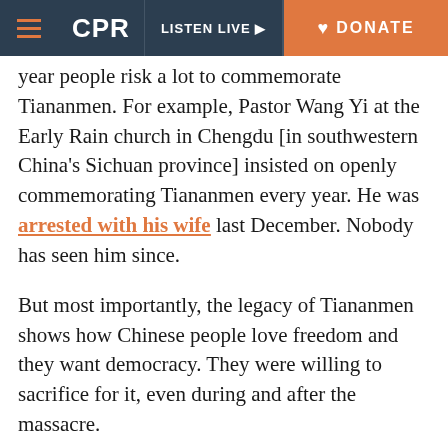CPR | LISTEN LIVE | DONATE
year people risk a lot to commemorate Tiananmen. For example, Pastor Wang Yi at the Early Rain church in Chengdu [in southwestern China’s Sichuan province] insisted on openly commemorating Tiananmen every year. He was arrested with his wife last December. Nobody has seen him since.
But most importantly, the legacy of Tiananmen shows how Chinese people love freedom and they want democracy. They were willing to sacrifice for it, even during and after the massacre.
So I think the fight is still going on for China even though it’s very difficult for people like us who are still trying to keep the memory alive because the